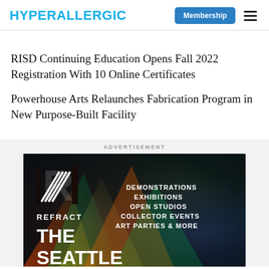HYPERALLERGIC
RISD Continuing Education Opens Fall 2022 Registration With 10 Online Certificates
Powerhouse Arts Relaunches Fabrication Program in New Purpose-Built Facility
ADVERTISEMENT
[Figure (photo): Advertisement banner for REFRACT: The Seattle art event, featuring a dark colorful background with light refractions, displaying DEMONSTRATIONS, EXHIBITIONS, OPEN STUDIOS, COLLECTOR EVENTS, ART PARTIES & MORE alongside the REFRACT logo and THE SEATTLE text]